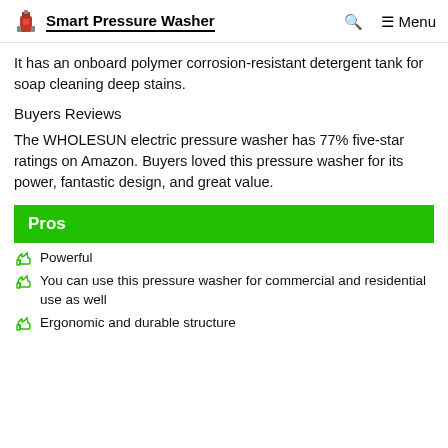Smart Pressure Washer
It has an onboard polymer corrosion-resistant detergent tank for soap cleaning deep stains.
Buyers Reviews
The WHOLESUN electric pressure washer has 77% five-star ratings on Amazon. Buyers loved this pressure washer for its power, fantastic design, and great value.
Pros
Powerful
You can use this pressure washer for commercial and residential use as well
Ergonomic and durable structure